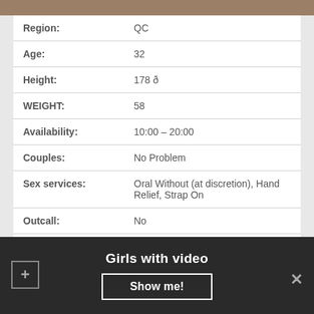[Figure (photo): Partial photo strip at top of page]
| Region: | QC |
| Age: | 32 |
| Height: | 178 ð |
| WEIGHT: | 58 |
| Availability: | 10:00 – 20:00 |
| Couples: | No Problem |
| Sex services: | Oral Without (at discretion), Hand Relief, Strap On |
| Outcall: | No |
| 30 min: | 160 |
| Anal: | 480$ |
Girls with video
Show me!